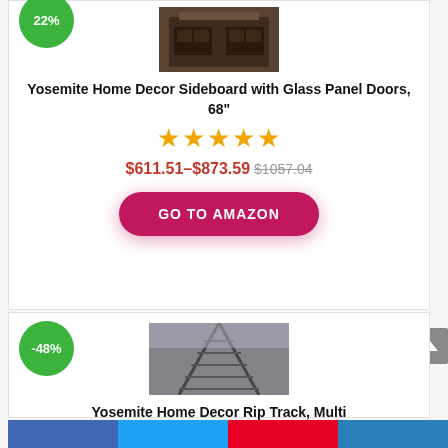[Figure (photo): Product photo of Yosemite Home Decor Sideboard with Glass Panel Doors partially cropped at top]
Yosemite Home Decor Sideboard with Glass Panel Doors, 68"
[Figure (other): Five orange star rating icons]
$611.51–$873.59 $1057.04
GO TO AMAZON
[Figure (photo): Product photo of Yosemite Home Decor Rip Track showing a foggy train track scene]
Yosemite Home Decor Rip Track, Multi